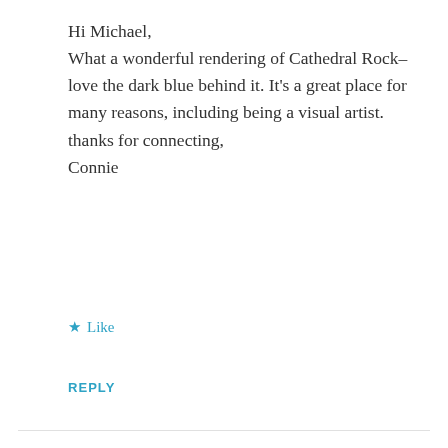Hi Michael,
What a wonderful rendering of Cathedral Rock–love the dark blue behind it. It's a great place for many reasons, including being a visual artist. thanks for connecting,
Connie
★ Like
REPLY
Leave a Reply
Your email address will not be published.